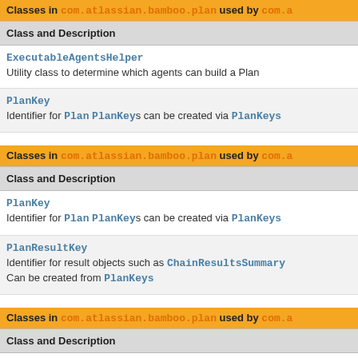Classes in com.atlassian.bamboo.plan used by com.a
| Class and Description |
| --- |
| ExecutableAgentsHelper
Utility class to determine which agents can build a Plan |
| PlanKey
Identifier for Plan PlanKeys can be created via PlanKeys |
Classes in com.atlassian.bamboo.plan used by com.a
| Class and Description |
| --- |
| PlanKey
Identifier for Plan PlanKeys can be created via PlanKeys |
| PlanResultKey
Identifier for result objects such as ChainResultsSummary Can be created from PlanKeys |
Classes in com.atlassian.bamboo.plan used by com.a
| Class and Description |
| --- |